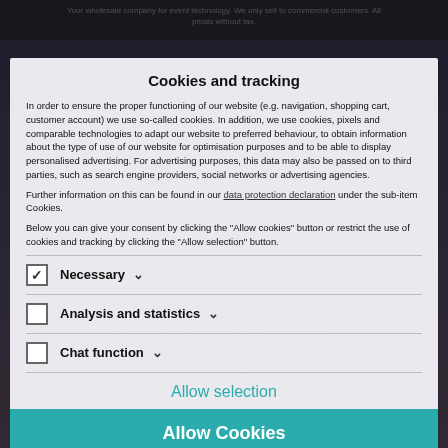Your wholesale company for event technology. We only sell to commercial customers. All prices without tax.
Cookies and tracking
In order to ensure the proper functioning of our website (e.g. navigation, shopping cart, customer account) we use so-called cookies. In addition, we use cookies, pixels and comparable technologies to adapt our website to preferred behaviour, to obtain information about the type of use of our website for optimisation purposes and to be able to display personalised advertising. For advertising purposes, this data may also be passed on to third parties, such as search engine providers, social networks or advertising agencies.
Further information on this can be found in our data protection declaration under the sub-item Cookies.
Below you can give your consent by clicking the "Allow cookies" button or restrict the use of cookies and tracking by clicking the "Allow selection" button.
Necessary (checked)
Analysis and statistics
Chat function
Allow selection
Allow Cookies